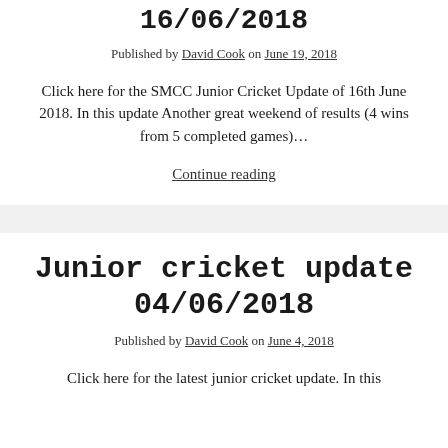16/06/2018
Published by David Cook on June 19, 2018
Click here for the SMCC Junior Cricket Update of 16th June 2018. In this update Another great weekend of results (4 wins from 5 completed games)…
Continue reading
Junior cricket update 04/06/2018
Published by David Cook on June 4, 2018
Click here for the latest junior cricket update. In this